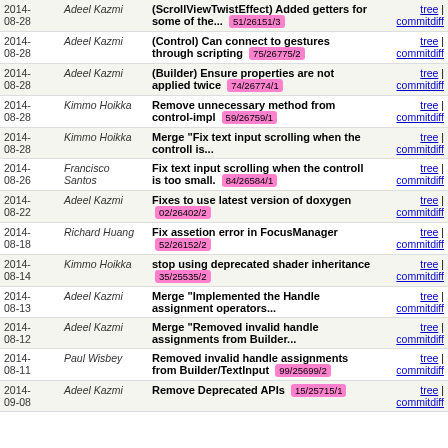| Date | Author | Commit | Links |
| --- | --- | --- | --- |
| 2014-08-28 | Adeel Kazmi | (ScrollViewTwistEffect) Added getters for some of the... 51/26151/3 | tree | commitdiff |
| 2014-08-28 | Adeel Kazmi | (Control) Can connect to gestures through scripting 75/26775/2 | tree | commitdiff |
| 2014-08-28 | Adeel Kazmi | (Builder) Ensure properties are not applied twice 74/26774/1 | tree | commitdiff |
| 2014-08-28 | Kimmo Hoikka | Remove unnecessary method from control-impl 59/26759/1 | tree | commitdiff |
| 2014-08-28 | Kimmo Hoikka | Merge "Fix text input scrolling when the controll is... | tree | commitdiff |
| 2014-08-26 | Francisco Santos | Fix text input scrolling when the controll is too small. 84/26584/1 | tree | commitdiff |
| 2014-08-22 | Adeel Kazmi | Fixes to use latest version of doxygen 02/26402/2 | tree | commitdiff |
| 2014-08-18 | Richard Huang | Fix assetion error in FocusManager 52/26152/2 | tree | commitdiff |
| 2014-08-14 | Kimmo Hoikka | stop using deprecated shader inheritance 35/25535/2 | tree | commitdiff |
| 2014-08-13 | Adeel Kazmi | Merge "Implemented the Handle assignment operators... | tree | commitdiff |
| 2014-08-12 | Adeel Kazmi | Merge "Removed invalid handle assignments from Builder... | tree | commitdiff |
| 2014-08-11 | Paul Wisbey | Removed invalid handle assignments from Builder/TextInput 99/25699/2 | tree | commitdiff |
| 2014-09-08 | Adeel Kazmi | Remove Deprecated APIs 15/25715/1 | tree | commitdiff |